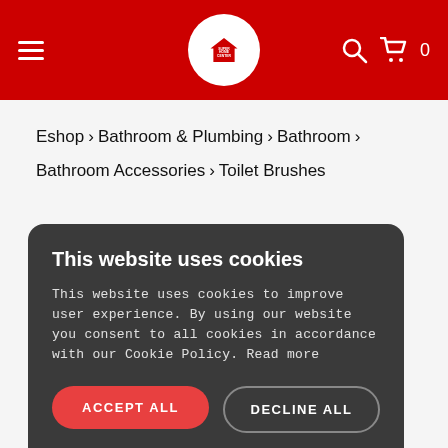Super Home Center – navigation header with logo, hamburger menu, search icon, cart icon with count 0
Eshop > Bathroom & Plumbing > Bathroom > Bathroom Accessories > Toilet Brushes
This website uses cookies
This website uses cookies to improve user experience. By using our website you consent to all cookies in accordance with our Cookie Policy. Read more
ACCEPT ALL
DECLINE ALL
SHOW DETAILS